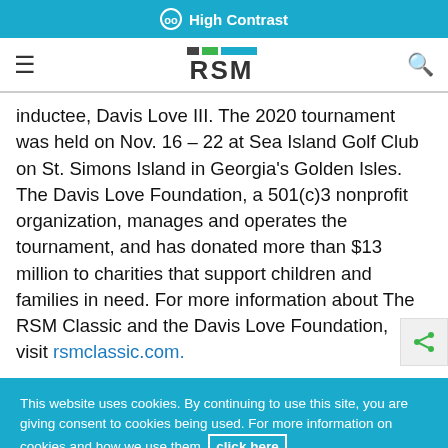High Contrast
[Figure (logo): RSM logo with colored bars]
inductee, Davis Love III. The 2020 tournament was held on Nov. 16 – 22 at Sea Island Golf Club on St. Simons Island in Georgia's Golden Isles. The Davis Love Foundation, a 501(c)3 nonprofit organization, manages and operates the tournament, and has donated more than $13 million to charities that support children and families in need. For more information about The RSM Classic and the Davis Love Foundation, visit rsmclassic.com.
This website uses cookies. By continuing to use this site, you are giving consent to cookies being used. For more information on cookies and how we use them, click here
Close